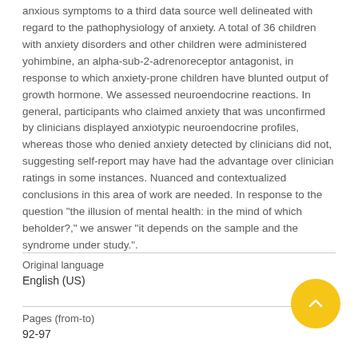anxious symptoms to a third data source well delineated with regard to the pathophysiology of anxiety. A total of 36 children with anxiety disorders and other children were administered yohimbine, an alpha-sub-2-adrenoreceptor antagonist, in response to which anxiety-prone children have blunted output of growth hormone. We assessed neuroendocrine reactions. In general, participants who claimed anxiety that was unconfirmed by clinicians displayed anxiotypic neuroendocrine profiles, whereas those who denied anxiety detected by clinicians did not, suggesting self-report may have had the advantage over clinician ratings in some instances. Nuanced and contextualized conclusions in this area of work are needed. In response to the question "the illusion of mental health: in the mind of which beholder?," we answer "it depends on the sample and the syndrome under study.".
| Field | Value |
| --- | --- |
| Original language | English (US) |
| Pages (from-to) | 92-97 |